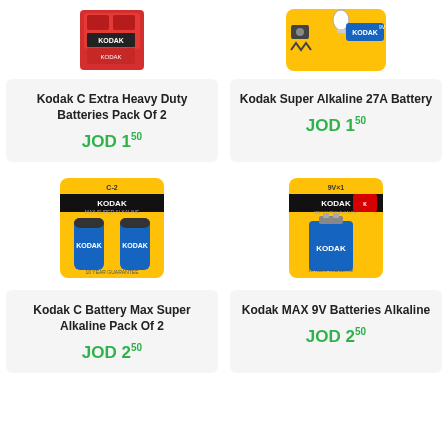[Figure (photo): Kodak C Extra Heavy Duty Batteries Pack Of 2 product image - red packaging]
[Figure (photo): Kodak Super Alkaline 27A Battery product image - yellow packaging]
Kodak C Extra Heavy Duty Batteries Pack Of 2
JOD 1.50
Kodak Super Alkaline 27A Battery
JOD 1.50
[Figure (photo): Kodak C Battery Max Super Alkaline Pack Of 2 product image - yellow packaging with blue batteries]
[Figure (photo): Kodak MAX 9V Batteries Alkaline product image - yellow packaging with blue 9V battery]
Kodak C Battery Max Super Alkaline Pack Of 2
JOD 2.50
Kodak MAX 9V Batteries Alkaline
JOD 2.50